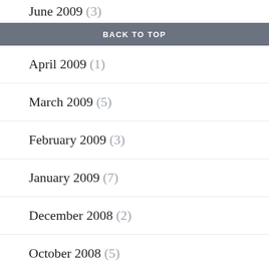June 2009 (3)
BACK TO TOP
April 2009 (1)
March 2009 (5)
February 2009 (3)
January 2009 (7)
December 2008 (2)
October 2008 (5)
August 2008 (6)
June 2008 (6)
May 2008 (5)